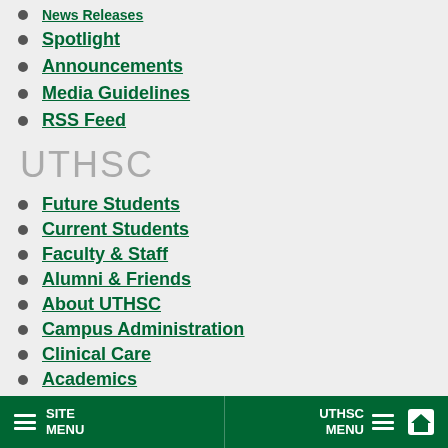News Releases
Spotlight
Announcements
Media Guidelines
RSS Feed
UTHSC
Future Students
Current Students
Faculty & Staff
Alumni & Friends
About UTHSC
Campus Administration
Clinical Care
Academics
Public Service
SITE MENU   UTHSC MENU